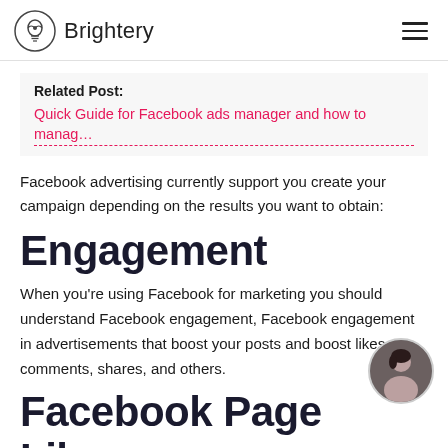Brightery
Related Post:
Quick Guide for Facebook ads manager and how to manag…
Facebook advertising currently support you create your campaign depending on the results you want to obtain:
Engagement
When you're using Facebook for marketing you should understand Facebook engagement, Facebook engagement in advertisements that boost your posts and boost likes, comments, shares, and others.
Facebook Page Likes